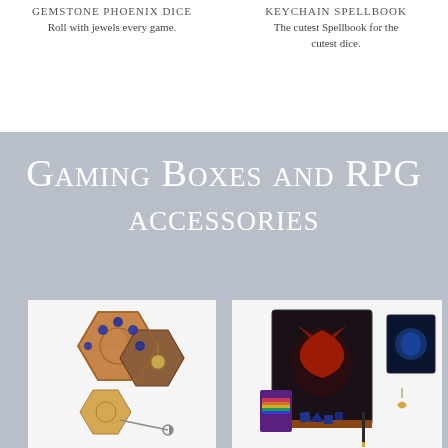Gemstone Phoenix Dice
Roll with jewels every game.
Keychain Spellbook
The cutest Spellbook for the cutest dice.
Gaming Boxes and RPG accessories
[Figure (photo): Wooden hexagonal dice boxes open with blue gemstone dice inside, plus keychains with dice and keys]
[Figure (photo): Spellbook notebook with dragon emblem, small blue dice set, pen, keychain, and mini book accessories]